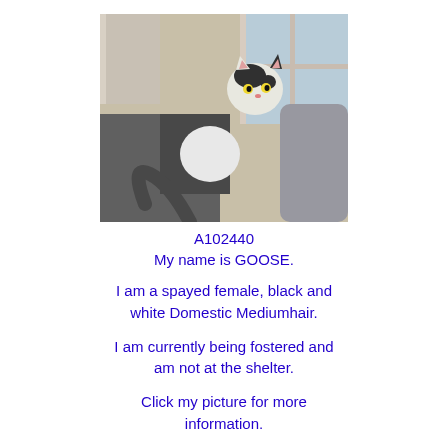[Figure (photo): A black and white cat lying on a carpet near a window, looking at the camera.]
A102440
My name is GOOSE.

I am a spayed female, black and white Domestic Mediumhair.

I am currently being fostered and am not at the shelter.

Click my picture for more information.

May 18, 2022